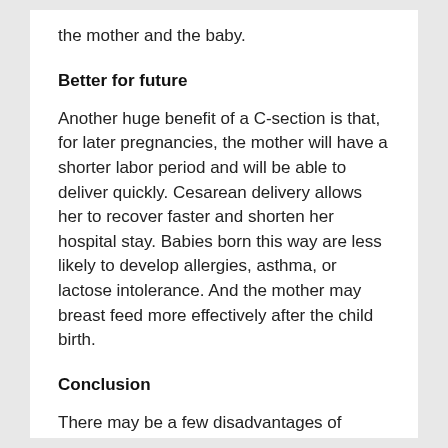the mother and the baby.
Better for future
Another huge benefit of a C-section is that, for later pregnancies, the mother will have a shorter labor period and will be able to deliver quickly. Cesarean delivery allows her to recover faster and shorten her hospital stay. Babies born this way are less likely to develop allergies, asthma, or lactose intolerance. And the mother may breast feed more effectively after the child birth.
Conclusion
There may be a few disadvantages of having a Caesarean, but for some cases it is the best option for both the mother and her baby. It is the safest way of child birth when it comes to twin deliveries.